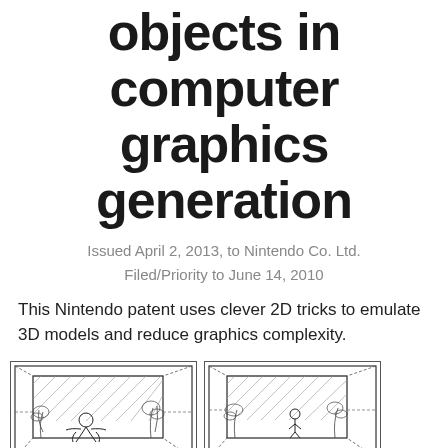objects in computer graphics generation
Issued April 2, 2013, to Nintendo Co. Ltd.
Filed/Priority to June 14, 2010
This Nintendo patent uses clever 2D tricks to emulate 3D models and reduce graphics complexity.
[Figure (illustration): Technical patent drawing showing a 3D scene with a character figure and plant/tree elements rendered in a box/stage setting, with dashed perspective lines]
[Figure (illustration): Technical patent drawing showing a similar 3D scene with a figure and plant elements in a box/stage setting, slightly different angle, with dashed perspective lines]